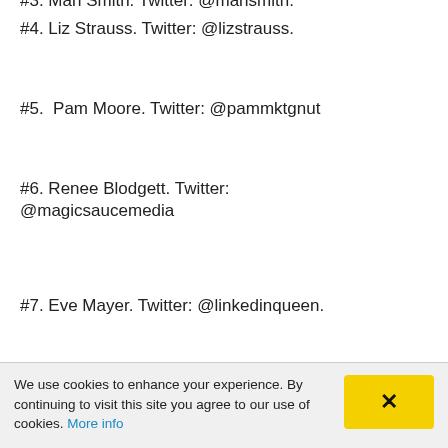#3. Mari Smith. Twitter: @marismith.
#4. Liz Strauss. Twitter: @lizstrauss.
#5.  Pam Moore. Twitter: @pammktgnut
#6. Renee Blodgett. Twitter: @magicsaucemedia
#7. Eve Mayer. Twitter: @linkedinqueen.
#8. Kim Garst. Twitter: @kimgarst
#9. Lori Ruff. Twitter: @loriruff
We use cookies to enhance your experience. By continuing to visit this site you agree to our use of cookies. More info